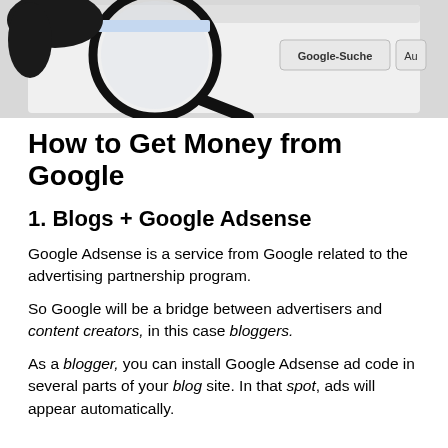[Figure (photo): A magnifying glass over a Google search page interface showing 'Google-Suche' and 'Au' buttons, with a hand holding the magnifying glass.]
How to Get Money from Google
1. Blogs + Google Adsense
Google Adsense is a service from Google related to the advertising partnership program.
So Google will be a bridge between advertisers and content creators, in this case bloggers.
As a blogger, you can install Google Adsense ad code in several parts of your blog site. In that spot, ads will appear automatically.